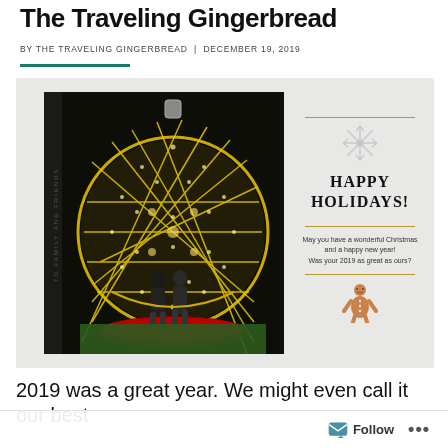The Traveling Gingerbread
BY THE TRAVELING GINGERBREAD | DECEMBER 19, 2019
[Figure (photo): A holiday greeting card showing a large illuminated Christmas ornament decoration with a couple standing inside it, surrounded by red flowers. The right side of the card reads 'HAPPY HOLIDAYS! May you have a wonderful Christmas and a happy new year! Was your 2019 as great as ours?' with a snowflake icon and gingerbread man icon. Vertical text on left reads 'TO FAMILY AND FRIENDS.']
2019 was a great year. We might even call it our best